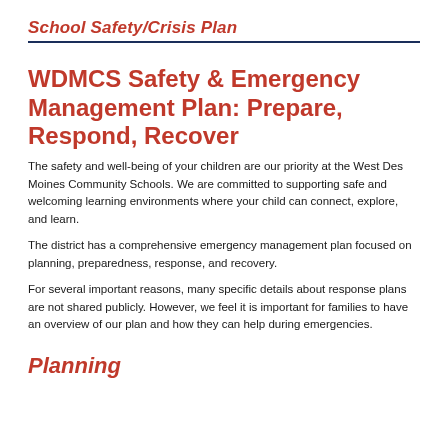School Safety/Crisis Plan
WDMCS Safety & Emergency Management Plan: Prepare, Respond, Recover
The safety and well-being of your children are our priority at the West Des Moines Community Schools. We are committed to supporting safe and welcoming learning environments where your child can connect, explore, and learn.
The district has a comprehensive emergency management plan focused on planning, preparedness, response, and recovery.
For several important reasons, many specific details about response plans are not shared publicly. However, we feel it is important for families to have an overview of our plan and how they can help during emergencies.
Planning